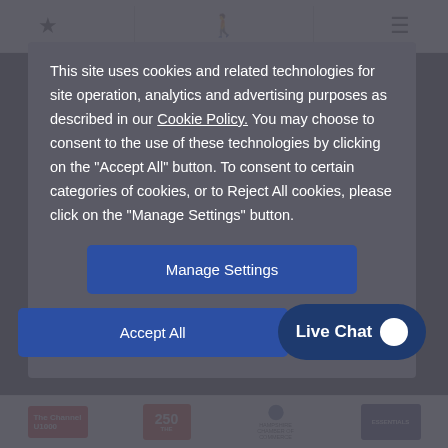This site uses cookies and related technologies for site operation, analytics and advertising purposes as described in our Cookie Policy. You may choose to consent to the use of these technologies by clicking on the “Accept All” button. To consent to certain categories of cookies, or to Reject All cookies, please click on the "Manage Settings" button.
Manage Settings
Accept All
Live Chat